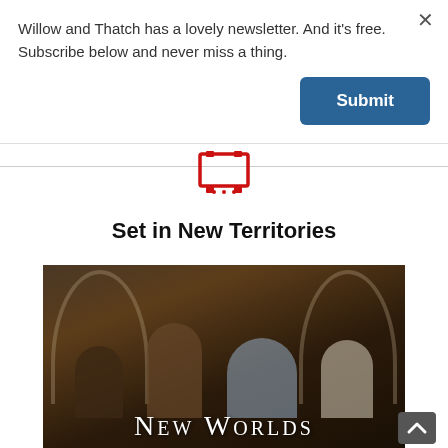Willow and Thatch has a lovely newsletter. And it's free. Subscribe below and never miss a thing.
Submit
Set in New Territories
[Figure (photo): Promotional poster for TV series 'New Worlds' showing four characters in period costume standing before stone arch backdrop.]
[Figure (other): Red film/TV icon (clapperboard or film frame symbol)]